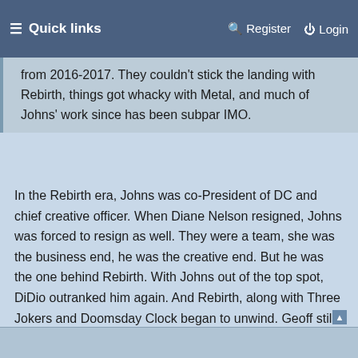Quick links | Register | Login
from 2016-2017. They couldn't stick the landing with Rebirth, things got whacky with Metal, and much of Johns' work since has been subpar IMO.
In the Rebirth era, Johns was co-President of DC and chief creative officer. When Diane Nelson resigned, Johns was forced to resign as well. They were a team, she was the business end, he was the creative end. But he was the one behind Rebirth. With Johns out of the top spot, DiDio outranked him again. And Rebirth, along with Three Jokers and Doomsday Clock began to unwind. Geoff still had a lot on his plate, but he wasn't the DC shot caller anymore. If he could've kept on shepherding Rebirth, I think we'd be in a very different place in the DCU right now.